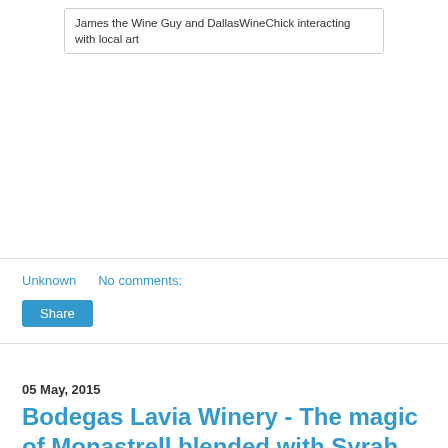James the Wine Guy and DallasWineChick interacting with local art
Unknown   No comments:
Share
05 May, 2015
Bodegas Lavia Winery - The magic of Monastrell blended with Syrah, Bullas DO, Spain
[Figure (photo): Exterior photo of Bodegas Lavia winery building showing the LAVIA signage on a brown/burgundy facade with trees in front]